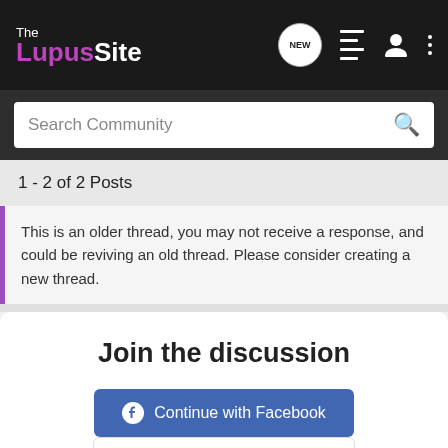[Figure (logo): The Lupus Site logo in white and purple on dark background, with navigation icons]
Search Community
1 - 2 of 2 Posts
This is an older thread, you may not receive a response, and could be reviving an old thread. Please consider creating a new thread.
Join the discussion
Continue with Facebook
Continue with Google
or sign up with email